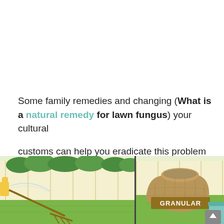Some family remedies and changing (What is a natural remedy for lawn fungus) your cultural customs can help you eradicate this problem quickly.
[Figure (illustration): Two-panel illustration: left panel shows a gloved hand using a rake/sprayer on a green lawn with a wooden fence and bushes in background; right panel shows a burlap sack labeled 'GRANULAR' sitting on green grass with a wooden fence background.]